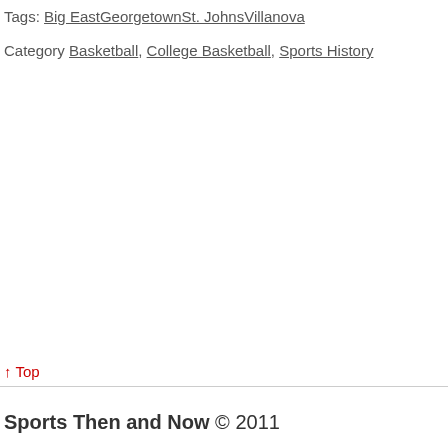Tags: Big EastGeorgetownSt. JohnsVillanova
Category Basketball, College Basketball, Sports History
↑ Top
Sports Then and Now © 2011